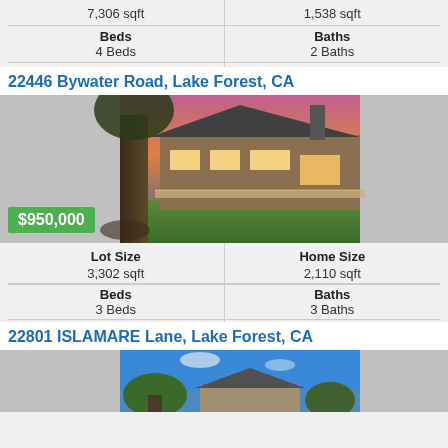| Lot Size | Home Size |
| --- | --- |
| 7,306 sqft | 1,538 sqft |
| Beds | Baths |
| 4 Beds | 2 Baths |
22446 Bywater Road, Lake Forest, CA
[Figure (photo): Exterior photo of a two-story house at dusk with pink/purple sky, large tree in foreground, lit porch, green lawn, price badge showing $950,000]
| Lot Size | Home Size |
| --- | --- |
| 3,302 sqft | 2,110 sqft |
| Beds | Baths |
| 3 Beds | 3 Baths |
22801 ISLAMARE Lane, Lake Forest, CA
[Figure (photo): Partial exterior photo of a house with trees and blue sky visible]